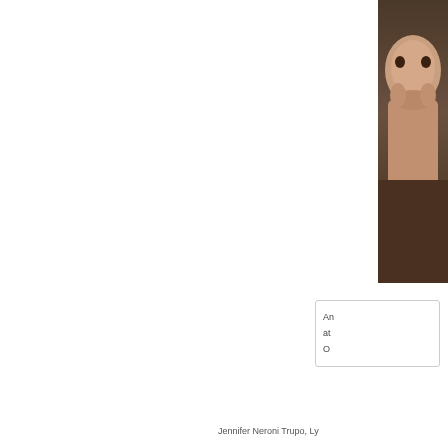[Figure (photo): Photo of a person, partially cropped, visible at the right edge of the page]
An
at
O
Jennifer Neroni Trupo, Ly